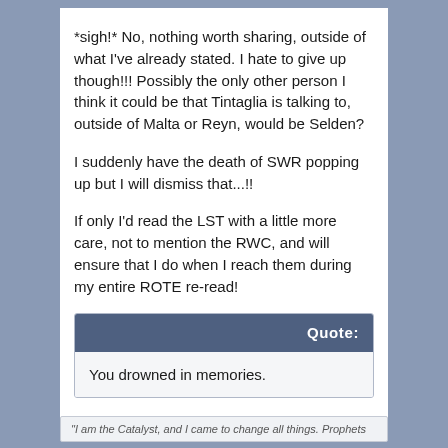*sigh!* No, nothing worth sharing, outside of what I've already stated. I hate to give up though!!! Possibly the only other person I think it could be that Tintaglia is talking to, outside of Malta or Reyn, would be Selden?
I suddenly have the death of SWR popping up but I will dismiss that...!!
If only I'd read the LST with a little more care, not to mention the RWC, and will ensure that I do when I reach them during my entire ROTE re-read!
Quote: You drowned in memories.
"I am the Catalyst, and I came to change all things. Prophets